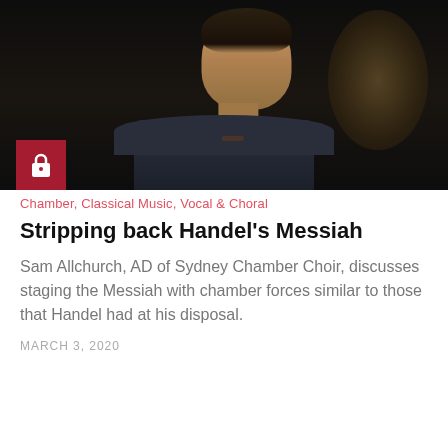[Figure (photo): Portrait photo of a man in a dark shirt looking upward, with a dark background. A red square badge with a white padlock icon is overlaid in the lower-left corner of the image.]
Chamber, Classical Music, Vocal & Choral
Stripping back Handel's Messiah
Sam Allchurch, AD of Sydney Chamber Choir, discusses staging the Messiah with chamber forces similar to those that Handel had at his disposal.
MARCH 3, 2020